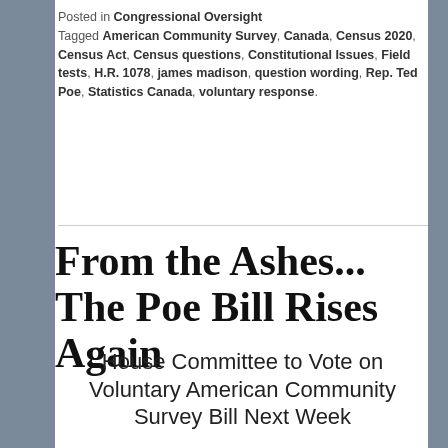Posted in Congressional Oversight
Tagged American Community Survey, Canada, Census 2020, Census Act, Census questions, Constitutional Issues, Field tests, H.R. 1078, james madison, question wording, Rep. Ted Poe, Statistics Canada, voluntary response.
From the Ashes... The Poe Bill Rises Again
House Committee to Vote on Voluntary American Community Survey Bill Next Week
By Terri Ann Lowenthal
This week, the College Board announced that it would overhaul the